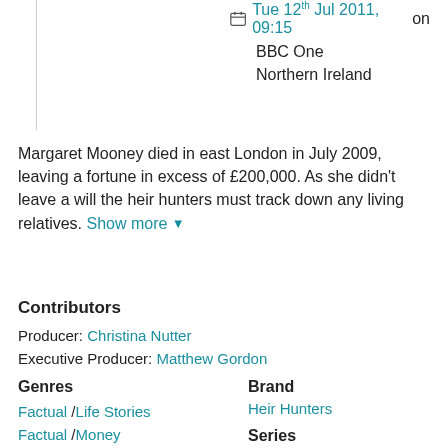Tue 12th Jul 2011, 09:15 on BBC One Northern Ireland
Margaret Mooney died in east London in July 2009, leaving a fortune in excess of £200,000. As she didn't leave a will the heir hunters must track down any living relatives. Show more
Contributors
Producer: Christina Nutter
Executive Producer: Matthew Gordon
Genres
Factual / Life Stories
Factual / Money
Brand
Heir Hunters
Series
Heir Hunters: Series 4